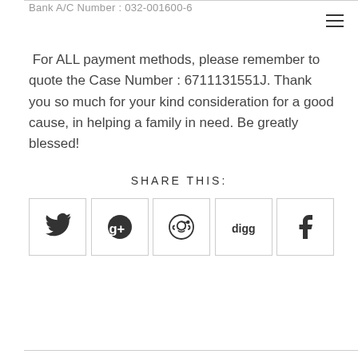Bank A/C Number : 032-001600-6
For ALL payment methods, please remember to quote the Case Number : 6711131551J. Thank you so much for your kind consideration for a good cause, in helping a family in need. Be greatly blessed!
SHARE THIS:
[Figure (infographic): Row of five social media share buttons: Twitter bird icon, Google+ icon, Reddit alien icon, Digg icon, Facebook icon, each in a square bordered box.]